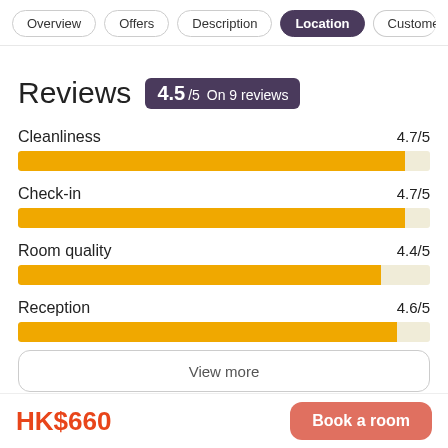Overview | Offers | Description | Location | Customer
Reviews  4.5/5  On 9 reviews
[Figure (bar-chart): Category Ratings]
View more
HK$660
Book a room